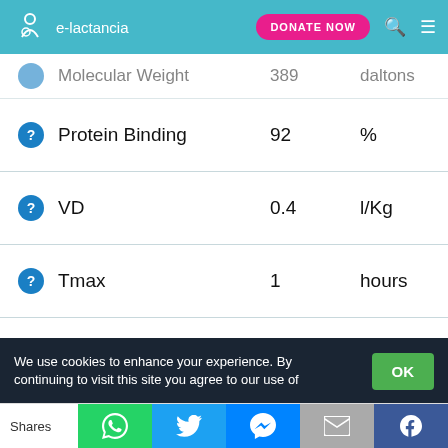e-lactancia — DONATE NOW
|  | Property | Value | Unit |
| --- | --- | --- | --- |
| ? | Molecular Weight | 389 | daltons |
| ? | Protein Binding | 92 | % |
| ? | VD | 0.4 | l/Kg |
| ? | Tmax | 1 | hours |
| ? | T½ | 8 - 12 | hours |
References
1. Wilkerson H, Datta P, Rewers-Felkins K, Baker T, Hale TW. Maternal Transfer of Cetirizine Into Human Milk. J Hum Lact. 2021 Feb;37(1):135-138.
We use cookies to enhance your experience. By continuing to visit this site you agree to our use of
Shares